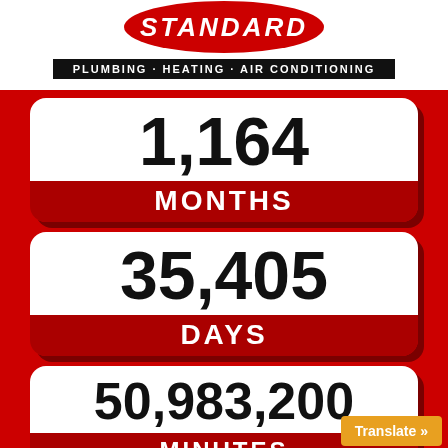[Figure (logo): Standard Plumbing Heating Air Conditioning logo with red oval and black subtitle bar]
1,164 MONTHS
35,405 DAYS
50,983,200 MINUTES